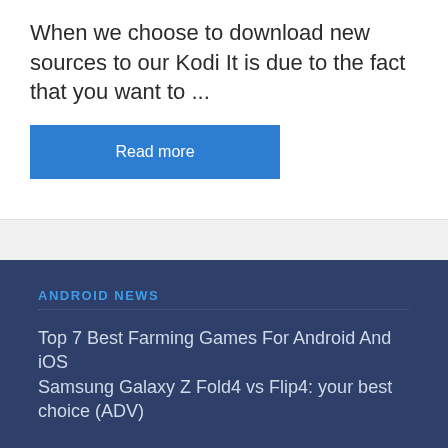When we choose to download new sources to our Kodi It is due to the fact that you want to ...
Read more
ANDROID NEWS
Top 7 Best Farming Games For Android And iOS
Samsung Galaxy Z Fold4 vs Flip4: your best choice (ADV)